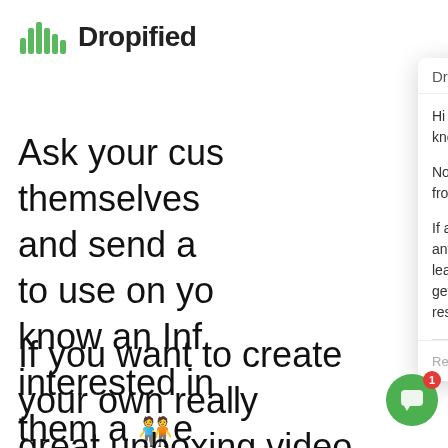[Figure (logo): Dropified logo with green soundwave bars and bold text 'Dropified']
Ask your cus themselves and send a to use on yo know an Inf interested in them a e an unboxing
[Figure (screenshot): Chat popup from Dropified with header 'Dropified', close and menu icons. Messages: 'Hi 😀 Have a look around! Let us know if you have any questions.' and 'Note: Our typical support hours are from 8am - 5pm Central Time.' and 'If after hours, go ahead and ask any questions you have and if you leave your email address, you'll get a notification email when we respond.' Reply input 'Reply to Dropified...' with emoji and attachment icons.]
If you want to create your own really great unboxing video, here are a helpful tips: